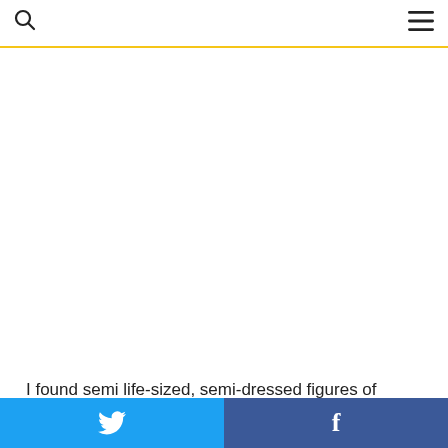Search | Menu
[Figure (photo): Large photo area, appears mostly white/blank in this view]
I found semi life-sized, semi-dressed figures of Pierrot or maybe Pierrotte, pirate, skeleton and a green topless
Twitter share | Facebook share